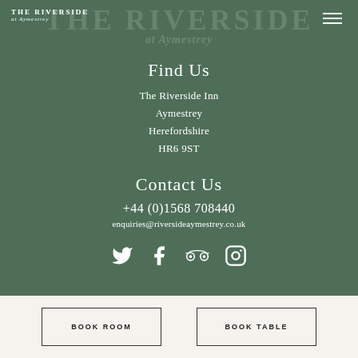[Figure (logo): The Riverside at Aymestrey logo - top left corner, white text on green background]
Find Us
The Riverside Inn
Aymestrey
Herefordshire
HR6 9ST
Contact Us
+44 (0)1568 708440
enquiries@riversideaymestrey.co.uk
[Figure (illustration): Social media icons: Twitter, Facebook, TripAdvisor, Instagram - white icons on green background]
BOOK ROOM
BOOK TABLE